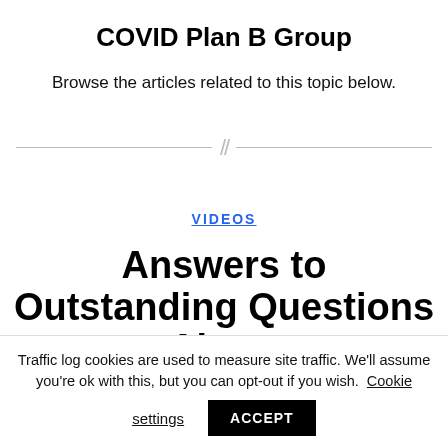COVID Plan B Group
Browse the articles related to this topic below.
VIDEOS
Answers to Outstanding Questions About
Traffic log cookies are used to measure site traffic. We'll assume you're ok with this, but you can opt-out if you wish. Cookie settings ACCEPT